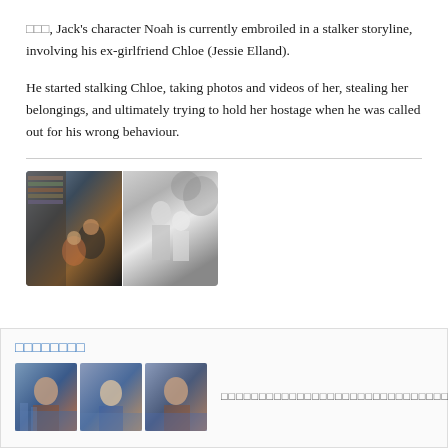□□□, Jack's character Noah is currently embroiled in a stalker storyline, involving his ex-girlfriend Chloe (Jessie Elland).
He started stalking Chloe, taking photos and videos of her, stealing her belongings, and ultimately trying to hold her hostage when he was called out for his wrong behaviour.
[Figure (photo): Two-panel photo strip: left panel shows people sitting in a room with bookshelves, right panel is a black and white photo of two people standing together outdoors.]
[Figure (photo): Related article box with three thumbnail photos of news presenters and placeholder text link.]